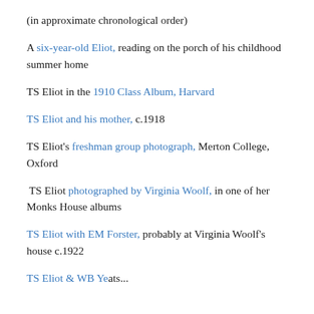(in approximate chronological order)
A six-year-old Eliot, reading on the porch of his childhood summer home
TS Eliot in the 1910 Class Album, Harvard
TS Eliot and his mother, c.1918
TS Eliot's freshman group photograph, Merton College, Oxford
TS Eliot photographed by Virginia Woolf, in one of her Monks House albums
TS Eliot with EM Forster, probably at Virginia Woolf's house c.1922
TS Eliot & WB Yeats...